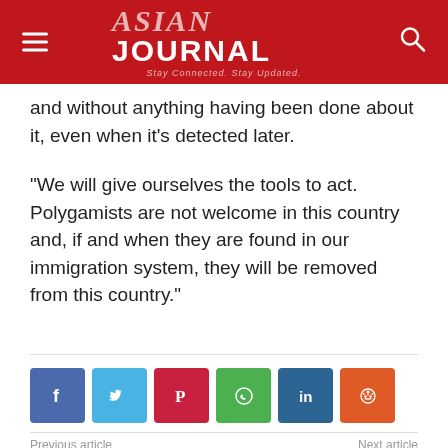ASIAN JOURNAL — Stay Connected. Stay Updated.
and without anything having been done about it, even when it's detected later.
“We will give ourselves the tools to act. Polygamists are not welcome in this country and, if and when they are found in our immigration system, they will be removed from this country.”
[Figure (other): Social media sharing buttons: Facebook, Twitter, Pinterest, WhatsApp, LinkedIn, Reddit]
Previous article    Next article